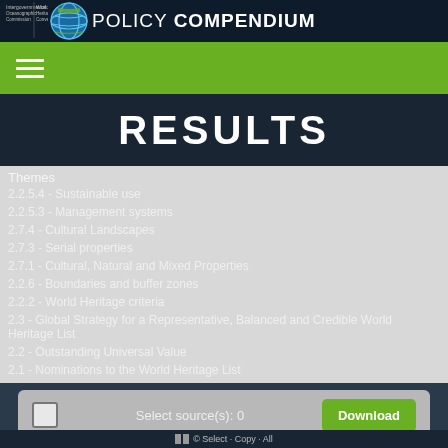UNESCO Policy Compendium
RESULTS
Themes
2.2.5.4 - Sustainable use
2.2.5.3 - Management systems
2.7.4 - Cultural Landscapes
2.7.3 - Serial properties
2.7.1 - Cultural, Natural and Mixed Properties
2.2.6 - Boundaries and buffer zones
2.2.2 - World Heritage criteria
2.3 - Global Strategy for a Representative, Balanced and Credible World Heritage List
2.2 - Outstanding Universal Value
2.1 - Nominations to the World Heritage List
Select source(s): 0
Download